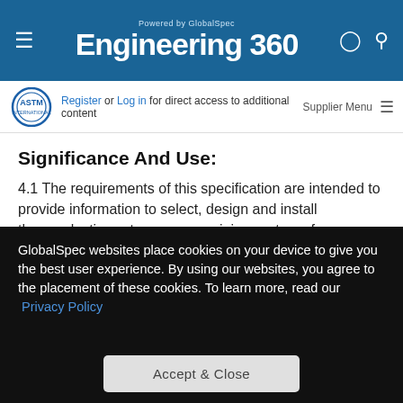Engineering 360 — Powered by GlobalSpec
Register or Log in for direct access to additional content  Supplier Menu
Significance And Use:
4.1 The requirements of this specification are intended to provide information to select, design and install thermoplastic, water-pressure piping systems for use outside buildings. Materials... View More
Scope:
1.1 This guide is intended for use in the selection, design, and
GlobalSpec websites place cookies on your device to give you the best user experience. By using our websites, you agree to the placement of these cookies. To learn more, read our  Privacy Policy
Accept & Close